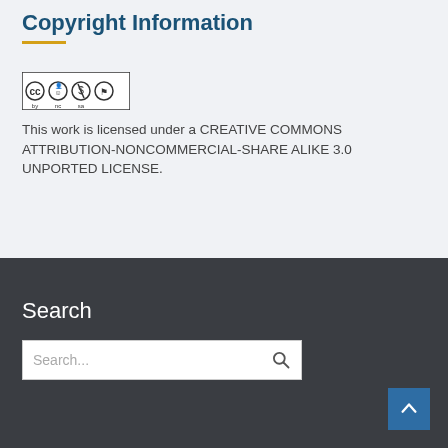Copyright Information
[Figure (logo): Creative Commons BY NC SA license badge showing cc, person, dollar-sign crossed, and recycle arrows icons with text BY NC SA]
This work is licensed under a CREATIVE COMMONS ATTRIBUTION-NONCOMMERCIAL-SHARE ALIKE 3.0 UNPORTED LICENSE.
Search
Search...